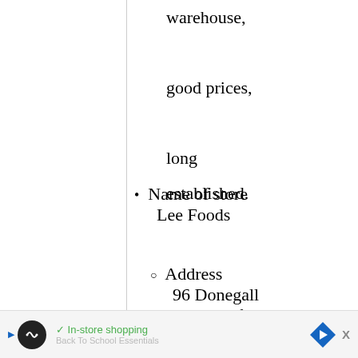warehouse,

good prices,

long established.
Name of store
Lee Foods
Address
96 Donegall Pass, Belfast